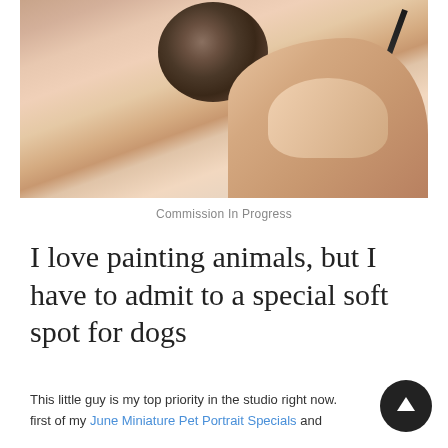[Figure (photo): Close-up photo of a hand holding a fine paintbrush, painting a miniature circular portrait. The photo shows fingers gripping the brush and a small round medallion being painted.]
Commission In Progress
I love painting animals, but I have to admit to a special soft spot for dogs
This little guy is my top priority in the studio right now. He's the first of my June Miniature Pet Portrait Specials and he's also a long time favourite of someone special, so he couldn't be more important!